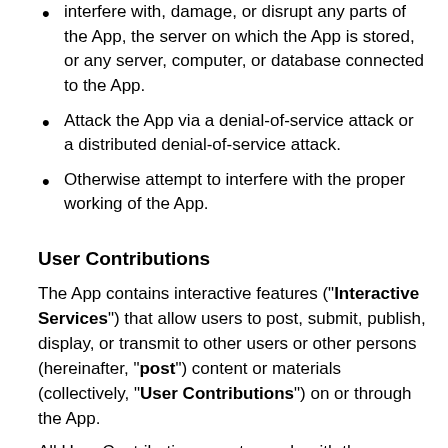interfere with, damage, or disrupt any parts of the App, the server on which the App is stored, or any server, computer, or database connected to the App.
Attack the App via a denial-of-service attack or a distributed denial-of-service attack.
Otherwise attempt to interfere with the proper working of the App.
User Contributions
The App contains interactive features ("Interactive Services") that allow users to post, submit, publish, display, or transmit to other users or other persons (hereinafter, "post") content or materials (collectively, "User Contributions") on or through the App.
All User Contributions must comply with the Content